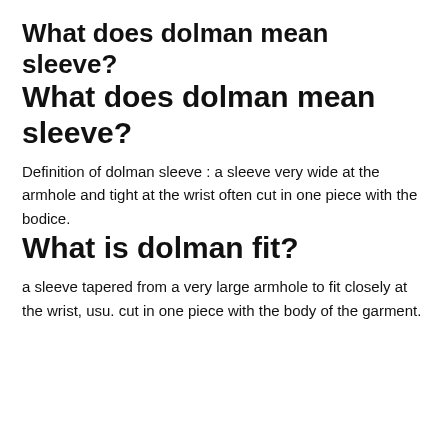What does dolman mean sleeve?
What does dolman mean sleeve?
Definition of dolman sleeve : a sleeve very wide at the armhole and tight at the wrist often cut in one piece with the bodice.
What is dolman fit?
a sleeve tapered from a very large armhole to fit closely at the wrist, usu. cut in one piece with the body of the garment.